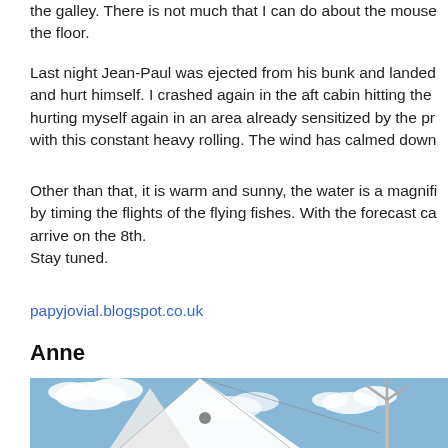the galley. There is not much that I can do about the mouse the floor.
Last night Jean-Paul was ejected from his bunk and landed and hurt himself. I crashed again in the aft cabin hitting the hurting myself again in an area already sensitized by the pr with this constant heavy rolling. The wind has calmed down
Other than that, it is warm and sunny, the water is a magnifi by timing the flights of the flying fishes. With the forecast ca arrive on the 8th.
Stay tuned.
papyjovial.blogspot.co.uk
Anne
[Figure (photo): Photo of a sailboat with white sails against a blue sky with clouds, and a wind turbine visible in the background]